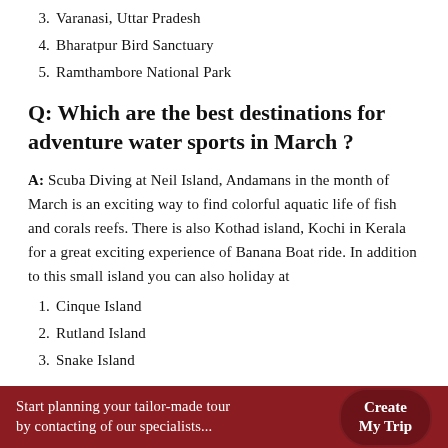3. Varanasi, Uttar Pradesh
4. Bharatpur Bird Sanctuary
5. Ramthambore National Park
Q: Which are the best destinations for adventure water sports in March ?
A: Scuba Diving at Neil Island, Andamans in the month of March is an exciting way to find colorful aquatic life of fish and corals reefs. There is also Kothad island, Kochi in Kerala for a great exciting experience of Banana Boat ride. In addition to this small island you can also holiday at
1. Cinque Island
2. Rutland Island
3. Snake Island
Start planning your tailor-made tour by contacting of our specialists... Create My Trip